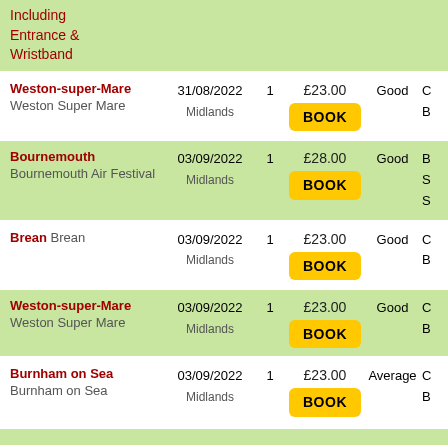Including Entrance & Wristband
| Destination | Date | Qty | Price | Availability | Info |
| --- | --- | --- | --- | --- | --- |
| Weston-super-Mare Weston Super Mare | 31/08/2022 Midlands | 1 | £23.00 BOOK | Good | C... B... |
| Bournemouth Bournemouth Air Festival | 03/09/2022 Midlands | 1 | £28.00 BOOK | Good | B... S... S... |
| Brean Brean | 03/09/2022 Midlands | 1 | £23.00 BOOK | Good | C... B... |
| Weston-super-Mare Weston Super Mare | 03/09/2022 Midlands | 1 | £23.00 BOOK | Good | C... B... |
| Burnham on Sea Burnham on Sea | 03/09/2022 Midlands | 1 | £23.00 BOOK | Average | C... B... |